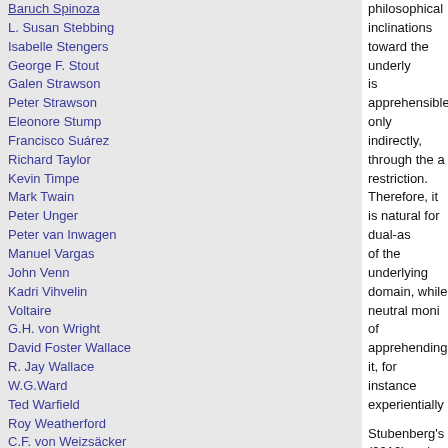Baruch Spinoza
L. Susan Stebbing
Isabelle Stengers
George F. Stout
Galen Strawson
Peter Strawson
Eleonore Stump
Francisco Suárez
Richard Taylor
Kevin Timpe
Mark Twain
Peter Unger
Peter van Inwagen
Manuel Vargas
John Venn
Kadri Vihvelin
Voltaire
G.H. von Wright
David Foster Wallace
R. Jay Wallace
W.G.Ward
Ted Warfield
Roy Weatherford
C.F. von Weizsäcker
William Whewell
Alfred North Whitehead
David Widerker
David Wiggins
Bernard Williams
Timothy Williamson
Ludwig Wittgenstein
Susan Wolf
Scientists
David Albert
Michael Arbib
Walter Baade
philosophical inclinations toward the underlying domain is apprehensible only indirectly, through the a restriction. Therefore, it is natural for dual-as of the underlying domain, while neutral moni of apprehending it, for instance experientially
Stubenberg's (2010) review clearly supports Bertrand Russell, the forefront of neutral mo again "sensation", respectively, concerning th redigested by other neutral monists such as empirical, hence anti-metaphysical, inclinatio all bear the risk of confusing the neutral with can be apprehended directly, how could it be
By contrast, dual-aspect monists do not hesi their underlying domain (substantial or proce apprehensible in any direct way but manifest historical representatives of dual-aspect mor and others, a number of scientists, notably p dual-aspect route since the mid 20th century resolved all aspects of the mind-matter relati be presented. The subsequent sections will e and outline how it may be potentially viable.
("Dual-Aspect Monism à la Pauli and Jung," Journal o
Atmanspacher connects dual-aspect monism one of many great dualisms.
The notion of complementarity was originally adopted by some psychologists, for instance stimuli. Bohr imported it into physics, original particle duality, in his "Como Lecture" in 192